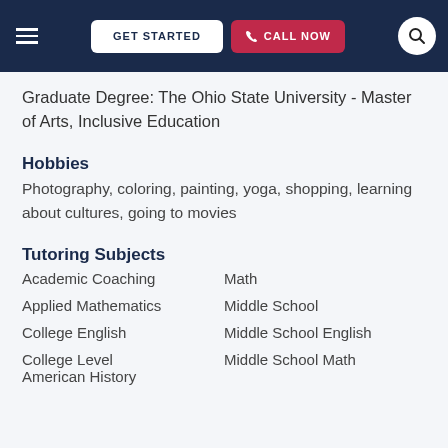GET STARTED | CALL NOW
Graduate Degree: The Ohio State University - Master of Arts, Inclusive Education
Hobbies
Photography, coloring, painting, yoga, shopping, learning about cultures, going to movies
Tutoring Subjects
Academic Coaching
Math
Applied Mathematics
Middle School
College English
Middle School English
College Level American History
Middle School Math
Middle Schoo...